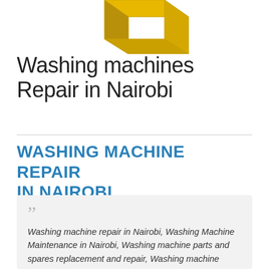[Figure (illustration): Partial view of a gold/yellow 3D cube or box shape, cropped at the top of the page]
Washing machines Repair in Nairobi
WASHING MACHINE REPAIR IN NAIROBI
Washing machine repair in Nairobi, Washing Machine Maintenance in Nairobi, Washing machine parts and spares replacement and repair, Washing machine